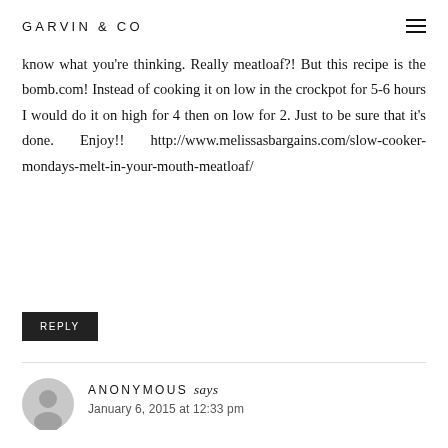GARVIN & CO
know what you're thinking. Really meatloaf?! But this recipe is the bomb.com! Instead of cooking it on low in the crockpot for 5-6 hours I would do it on high for 4 then on low for 2. Just to be sure that it's done. Enjoy!! http://www.melissasbargains.com/slow-cooker-mondays-melt-in-your-mouth-meatloaf/
REPLY
ANONYMOUS says
January 6, 2015 at 12:33 pm